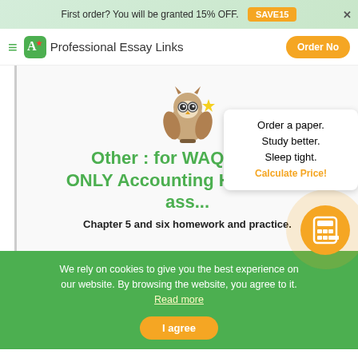First order? You will be granted 15% OFF. SAVE15
Professional Essay Links  Order No
[Figure (illustration): Owl mascot holding a gold star, with glasses, sitting on a branch]
Other : for WAQAS1AC ONLY Accounting Homework ass...
Chapter 5 and six homework and practice.
Order a paper. Study better. Sleep tight. Calculate Price!
We rely on cookies to give you the best experience on our website. By browsing the website, you agree to it. Read more
I agree